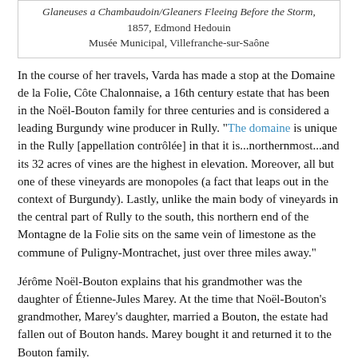Glaneuses a Chambaudoin/Gleaners Fleeing Before the Storm, 1857, Edmond Hedouin Musée Municipal, Villefranche-sur-Saône
In the course of her travels, Varda has made a stop at the Domaine de la Folie, Côte Chalonnaise, a 16th century estate that has been in the Noël-Bouton family for three centuries and is considered a leading Burgundy wine producer in Rully. "The domaine is unique in the Rully [appellation contrôlée] in that it is...northernmost...and its 32 acres of vines are the highest in elevation. Moreover, all but one of these vineyards are monopoles (a fact that leaps out in the context of Burgundy). Lastly, unlike the main body of vineyards in the central part of Rully to the south, this northern end of the Montagne de la Folie sits on the same vein of limestone as the commune of Puligny-Montrachet, just over three miles away."
Jérôme Noël-Bouton explains that his grandmother was the daughter of Étienne-Jules Marey. At the time that Noël-Bouton's grandmother, Marey's daughter, married a Bouton, the estate had fallen out of Bouton hands. Marey bought it and returned it to the Bouton family.